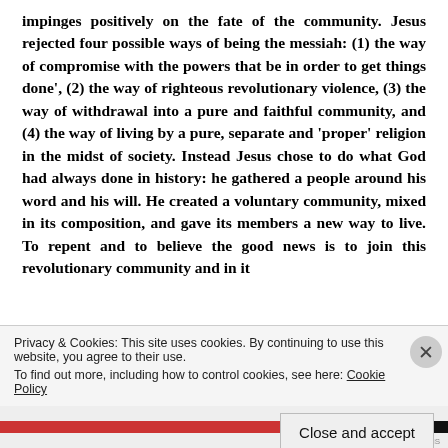impinges positively on the fate of the community. Jesus rejected four possible ways of being the messiah: (1) the way of compromise with the powers that be in order to get things done', (2) the way of righteous revolutionary violence, (3) the way of withdrawal into a pure and faithful community, and (4) the way of living by a pure, separate and 'proper' religion in the midst of society. Instead Jesus chose to do what God had always done in history: he gathered a people around his word and his will. He created a voluntary community, mixed in its composition, and gave its members a new way to live. To repent and to believe the good news is to join this revolutionary community and in it
Privacy & Cookies: This site uses cookies. By continuing to use this website, you agree to their use.
To find out more, including how to control cookies, see here: Cookie Policy
Close and accept